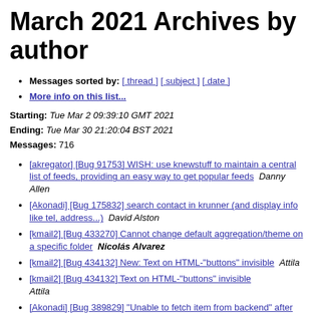March 2021 Archives by author
Messages sorted by: [ thread ] [ subject ] [ date ]
More info on this list...
Starting: Tue Mar 2 09:39:10 GMT 2021
Ending: Tue Mar 30 21:20:04 BST 2021
Messages: 716
[akregator] [Bug 91753] WISH: use knewstuff to maintain a central list of feeds, providing an easy way to get popular feeds   Danny Allen
[Akonadi] [Bug 175832] search contact in krunner (and display info like tel, address...)   David Alston
[kmail2] [Bug 433270] Cannot change default aggregation/theme on a specific folder   Nicolás Alvarez
[kmail2] [Bug 434132] New: Text on HTML-"buttons" invisible   Attila
[kmail2] [Bug 434132] Text on HTML-"buttons" invisible   Attila
[Akonadi] [Bug 389829] "Unable to fetch item from backend" after deleting it using akonadi_maildir_resource 0